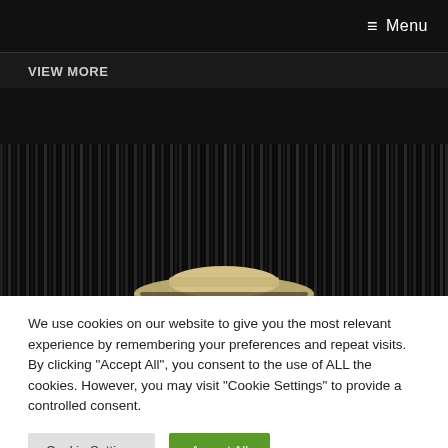≡ Menu
VIEW MORE
[Figure (photo): Dark background with vertical striped curtain/blinds pattern and a beige/tan colored object (possibly a hat or bag) visible at the bottom center of the image.]
We use cookies on our website to give you the most relevant experience by remembering your preferences and repeat visits. By clicking "Accept All", you consent to the use of ALL the cookies. However, you may visit "Cookie Settings" to provide a controlled consent.
Cookie Settings
Accept All